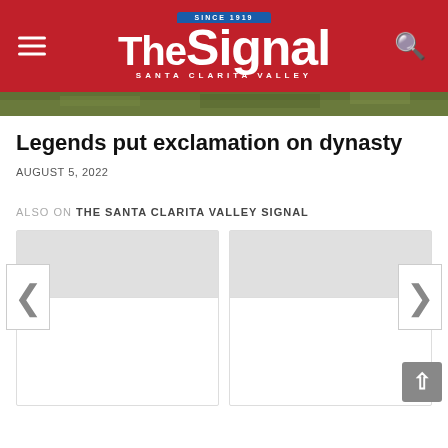The Signal – Santa Clarita Valley (since 1919)
[Figure (photo): Aerial view of green landscape, cropped strip at top of article]
Legends put exclamation on dynasty
AUGUST 5, 2022
ALSO ON THE SANTA CLARITA VALLEY SIGNAL
[Figure (screenshot): Two related article cards with left and right navigation arrows, part of a 'Also On' carousel widget]